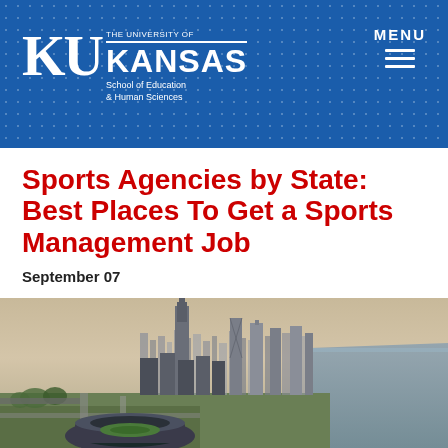[Figure (logo): University of Kansas School of Education & Human Sciences logo with KU letters and MENU navigation icon on blue header background]
Sports Agencies by State: Best Places To Get a Sports Management Job
September 07
[Figure (photo): Aerial view of a city skyline (Chicago) with skyscrapers, lakefront, green park, and a large stadium in the foreground]